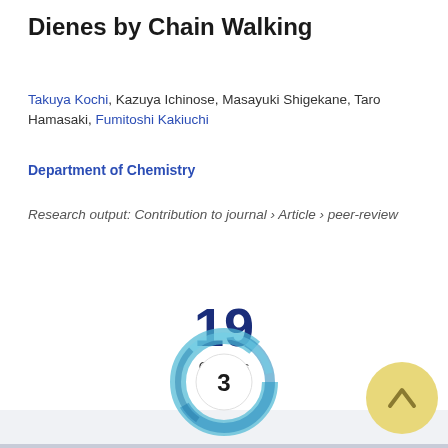Dienes by Chain Walking
Takuya Kochi, Kazuya Ichinose, Masayuki Shigekane, Taro Hamasaki, Fumitoshi Kakiuchi
Department of Chemistry
Research output: Contribution to journal › Article › peer-review
19 Citations (Scopus)
[Figure (other): Donut badge with number 3 in center, teal/blue swirling ring around white circle]
[Figure (other): Yellow/gold circular scroll-to-top button with upward chevron arrow]